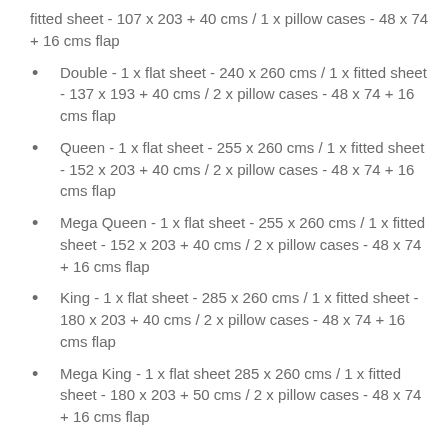fitted sheet - 107 x 203 + 40 cms / 1 x pillow cases - 48 x 74 + 16 cms flap
Double - 1 x flat sheet - 240 x 260 cms / 1 x fitted sheet - 137 x 193 + 40 cms / 2 x pillow cases - 48 x 74 + 16 cms flap
Queen - 1 x flat sheet - 255 x 260 cms / 1 x fitted sheet - 152 x 203 + 40 cms / 2 x pillow cases - 48 x 74 + 16 cms flap
Mega Queen - 1 x flat sheet - 255 x 260 cms / 1 x fitted sheet - 152 x 203 + 40 cms / 2 x pillow cases - 48 x 74 + 16 cms flap
King - 1 x flat sheet - 285 x 260 cms / 1 x fitted sheet - 180 x 203 + 40 cms / 2 x pillow cases - 48 x 74 + 16 cms flap
Mega King - 1 x flat sheet 285 x 260 cms / 1 x fitted sheet - 180 x 203 + 50 cms / 2 x pillow cases - 48 x 74 + 16 cms flap